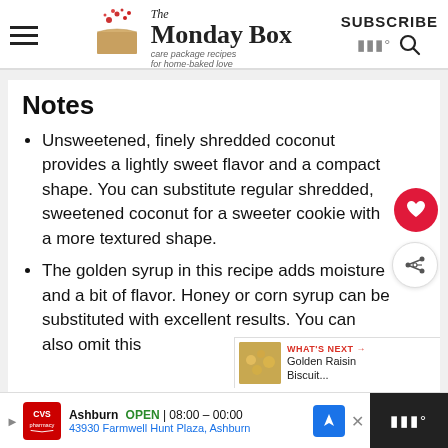The Monday Box — care package recipes for home-baked love | SUBSCRIBE
Notes
Unsweetened, finely shredded coconut provides a lightly sweet flavor and a compact shape. You can substitute regular shredded, sweetened coconut for a sweeter cookie with a more textured shape.
The golden syrup in this recipe adds moisture and a bit of flavor. Honey or corn syrup can be substituted with excellent results. You can also omit this ingredient completely.
[Figure (infographic): What's Next callout overlay with thumbnail image and text: Golden Raisin Biscuit...]
Ashburn OPEN | 08:00 - 00:00 | 43930 Farmwell Hunt Plaza, Ashburn